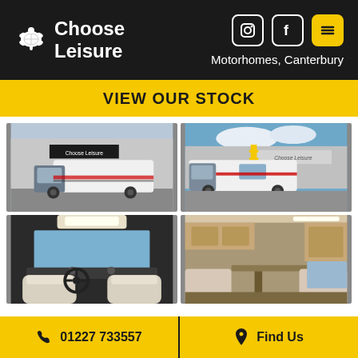[Figure (logo): Choose Leisure logo with turtle graphic on black header bar]
Motorhomes, Canterbury
VIEW OUR STOCK
[Figure (photo): Motorhome parked outside Choose Leisure dealership, exterior front view]
[Figure (photo): Motorhome parked outside Choose Leisure dealership, exterior side view]
[Figure (photo): Interior cab/driver area of motorhome with cream seats]
[Figure (photo): Interior living area of motorhome with wooden cabinetry]
01227 733557
Find Us